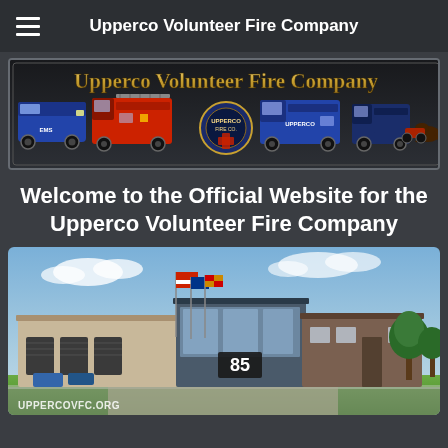Upperco Volunteer Fire Company
[Figure (illustration): Upperco Volunteer Fire Company banner with gold text logo and fire trucks/vehicles lineup]
Welcome to the Official Website for the Upperco Volunteer Fire Company
[Figure (photo): Architectural rendering of Upperco Volunteer Fire Company Station 85 building exterior with flags]